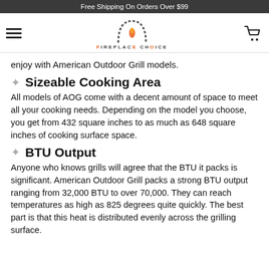Free Shipping On Orders Over $99
[Figure (logo): Fireplace Choice logo with hamburger menu and cart icon]
enjoy with American Outdoor Grill models.
❖   Sizeable Cooking Area
All models of AOG come with a decent amount of space to meet all your cooking needs. Depending on the model you choose, you get from 432 square inches to as much as 648 square inches of cooking surface space.
❖   BTU Output
Anyone who knows grills will agree that the BTU it packs is significant. American Outdoor Grill packs a strong BTU output ranging from 32,000 BTU to over 70,000. They can reach temperatures as high as 825 degrees quite quickly. The best part is that this heat is distributed evenly across the grilling surface.